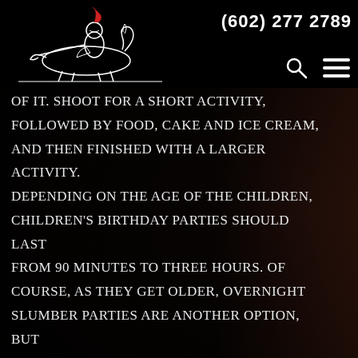(602) 277 2789
[Figure (logo): White Knight Party Rentals logo with knight on horseback, drawn in white lines on black background]
of it. Shoot for a short activity, followed by food, cake and ice cream, and then finished with a larger activity. Depending on the age of the children, children's birthday parties should last from 90 minutes to three hours. Of course, as they get older, overnight slumber parties are another option, but movies, games, pizza, and popcorn will keep them hopping until the wee hours of the night.
Change It Up